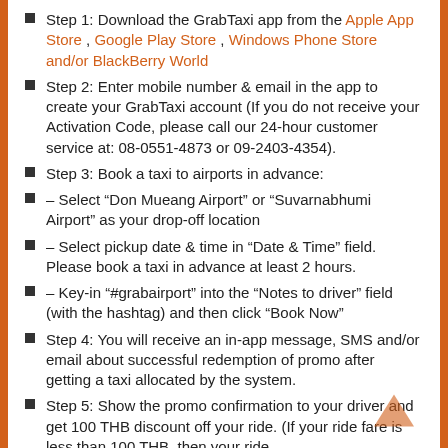Step 1: Download the GrabTaxi app from the Apple App Store , Google Play Store , Windows Phone Store and/or BlackBerry World
Step 2: Enter mobile number & email in the app to create your GrabTaxi account (If you do not receive your Activation Code, please call our 24-hour customer service at: 08-0551-4873 or 09-2403-4354).
Step 3: Book a taxi to airports in advance:
– Select “Don Mueang Airport” or “Suvarnabhumi Airport” as your drop-off location
– Select pickup date & time in “Date & Time” field. Please book a taxi in advance at least 2 hours.
– Key-in “#grabairport” into the “Notes to driver” field (with the hashtag) and then click “Book Now”
Step 4: You will receive an in-app message, SMS and/or email about successful redemption of promo after getting a taxi allocated by the system.
Step 5: Show the promo confirmation to your driver and get 100 THB discount off your ride. (If your ride fare is less than 100 THB, then your ride